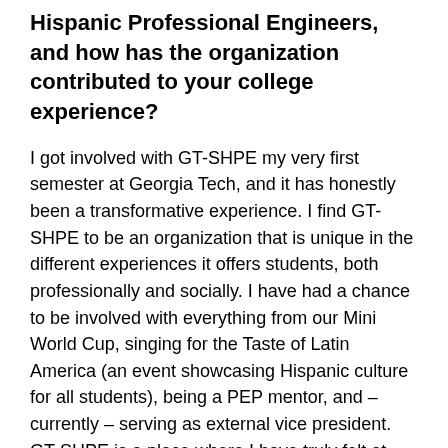Hispanic Professional Engineers, and how has the organization contributed to your college experience?
I got involved with GT-SHPE my very first semester at Georgia Tech, and it has honestly been a transformative experience. I find GT-SHPE to be an organization that is unique in the different experiences it offers students, both professionally and socially. I have had a chance to be involved with everything from our Mini World Cup, singing for the Taste of Latin America (an event showcasing Hispanic culture for all students), being a PEP mentor, and – currently – serving as external vice president. GT-SHPE is a place where I have truly felt at home, with people who resonate with my background and connect on shared interests and passions.